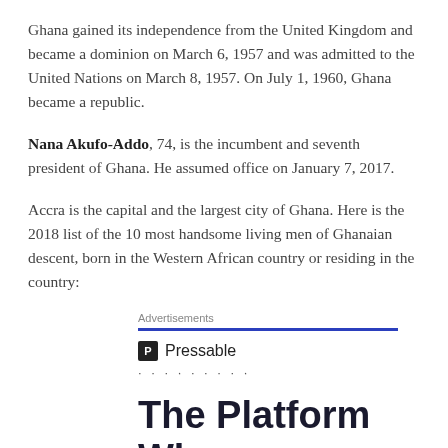Ghana gained its independence from the United Kingdom and became a dominion on March 6, 1957 and was admitted to the United Nations on March 8, 1957. On July 1, 1960, Ghana became a republic.
Nana Akufo-Addo, 74, is the incumbent and seventh president of Ghana. He assumed office on January 7, 2017.
Accra is the capital and the largest city of Ghana. Here is the 2018 list of the 10 most handsome living men of Ghanaian descent, born in the Western African country or residing in the country:
[Figure (other): Pressable advertisement banner with logo, decorative dots, and headline text 'The Platform Where WordPress Works Best']